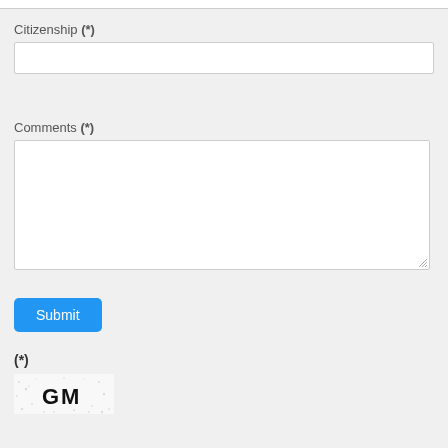Citizenship (*)
Comments (*)
Submit
(*)
[Figure (other): CAPTCHA image showing distorted text 'GM' with noise dots]